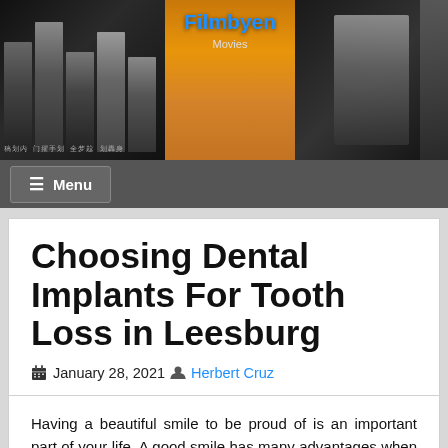[Figure (photo): Website header banner with film poster collage background showing dark figures on left and right sides, and a center panel with orange/tan image. Site title 'Filmbyen' in blue text and 'Movies' subtitle below.]
☰ Menu
Choosing Dental Implants For Tooth Loss in Leesburg
January 28, 2021  Herbert Cruz
Having a beautiful smile to be proud of is an important part of your life. A good smile has many advantages when it comes to reaching an agreement, turning a bad date into a really good